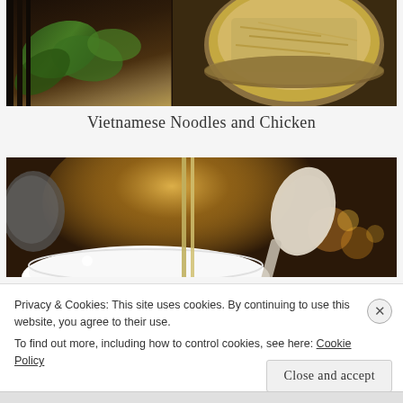[Figure (photo): Photo of Vietnamese food - green wrapped items on left and a bamboo steamer with chicken/noodles on right, dark warm tones]
Vietnamese Noodles and Chicken
[Figure (photo): Photo of a white bowl with chopsticks, a ceramic spoon, and warm ambient lighting from candles in background]
Privacy & Cookies: This site uses cookies. By continuing to use this website, you agree to their use.
To find out more, including how to control cookies, see here: Cookie Policy
Close and accept